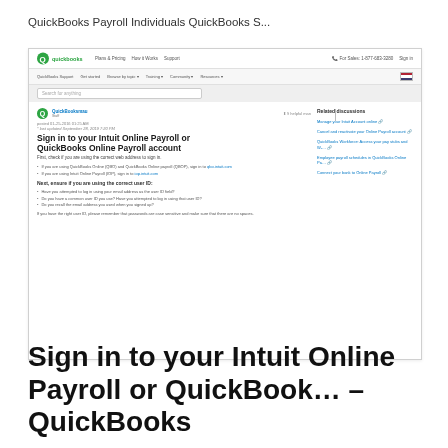QuickBooks Payroll Individuals QuickBooks S...
[Figure (screenshot): Screenshot of QuickBooks support page showing article 'Sign in to your Intuit Online Payroll or QuickBooks Online Payroll account' with navigation bar, search bar, article content with bullet points, and related discussions sidebar]
Sign in to your Intuit Online Payroll or QuickBook… – QuickBooks